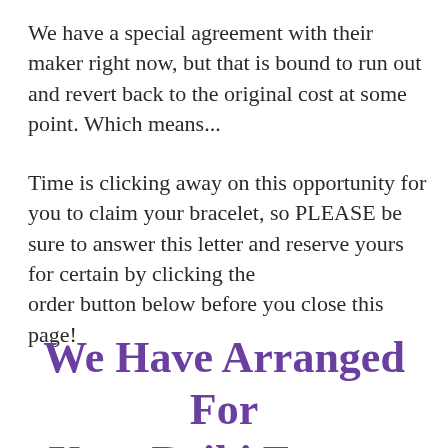We have a special agreement with their maker right now, but that is bound to run out and revert back to the original cost at some point. Which means...
Time is clicking away on this opportunity for you to claim your bracelet, so PLEASE be sure to answer this letter and reserve yours for certain by clicking the order button below before you close this page!
We Have Arranged For Your Reiki Energy Healing